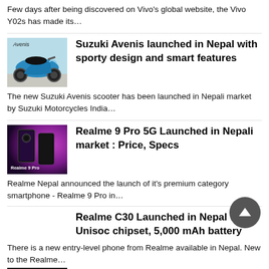Few days after being discovered on Vivo's global website, the Vivo Y02s has made its…
[Figure (photo): Suzuki Avenis scooter in blue color]
Suzuki Avenis launched in Nepal with sporty design and smart features
The new Suzuki Avenis scooter has been launched in Nepali market by Suzuki Motorcycles India…
[Figure (photo): Realme 9 Pro 5G phone on purple background with Realme 9 Pro text]
Realme 9 Pro 5G Launched in Nepali market : Price, Specs
Realme Nepal announced the launch of it's premium category smartphone - Realme 9 Pro in…
Realme C30 Launched in Nepal with Unisoc chipset, 5,000 mAh battery
There is a new entry-level phone from Realme available in Nepal. New to the Realme…
[Figure (photo): Partial image at bottom of page]